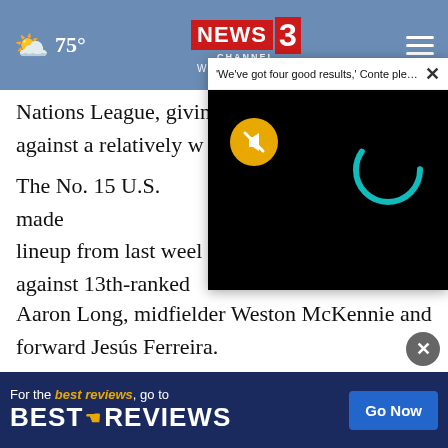75° | NEWS CHANNEL 3 | WREG MEMPHIS
Nations League, giving against a relatively w
[Figure (screenshot): Video popup overlay with title 'We've got four good results,' Conte ple... with black video player showing mute button (orange circle with mute icon) and a teal loading spinner on black background.]
The No. 15 U.S. made lineup from last week against 13th-ranked Aaron Long, midfielder Weston McKennie and forward Jesús Ferreira.
Matt Turner took over from Sean Johnson in goal, Reggie Cannon from DeAndre Yedlin at right back, Cameron Carter Vickers from Walker Zimmerman at central
[Figure (infographic): BestReviews advertisement bar: 'For the best reviews, go to BESTREVIEWS' with a 'Go Now' button.]